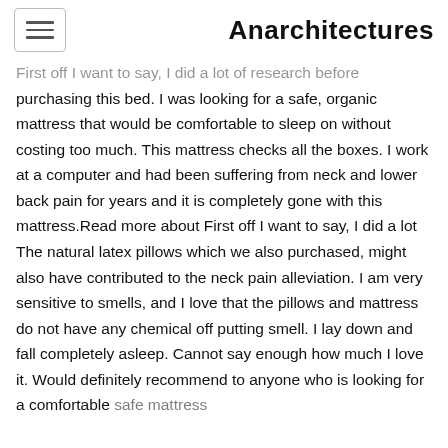Anarchitectures
First off I want to say, I did a lot of research before purchasing this bed. I was looking for a safe, organic mattress that would be comfortable to sleep on without costing too much. This mattress checks all the boxes. I work at a computer and had been suffering from neck and lower back pain for years and it is completely gone with this mattress.Read more about First off I want to say, I did a lot The natural latex pillows which we also purchased, might also have contributed to the neck pain alleviation. I am very sensitive to smells, and I love that the pillows and mattress do not have any chemical off putting smell. I lay down and fall completely asleep. Cannot say enough how much I love it. Would definitely recommend to anyone who is looking for a comfortable safe mattress